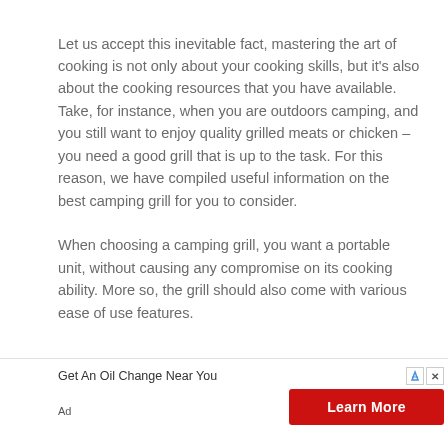Let us accept this inevitable fact, mastering the art of cooking is not only about your cooking skills, but it's also about the cooking resources that you have available. Take, for instance, when you are outdoors camping, and you still want to enjoy quality grilled meats or chicken – you need a good grill that is up to the task. For this reason, we have compiled useful information on the best camping grill for you to consider.
When choosing a camping grill, you want a portable unit, without causing any compromise on its cooking ability. More so, the grill should also come with various ease of use features.
[Figure (other): Advertisement banner: 'Get An Oil Change Near You' with a red 'Learn More' button, AdChoices icon, and close button. 'Ad' label in bottom left.]